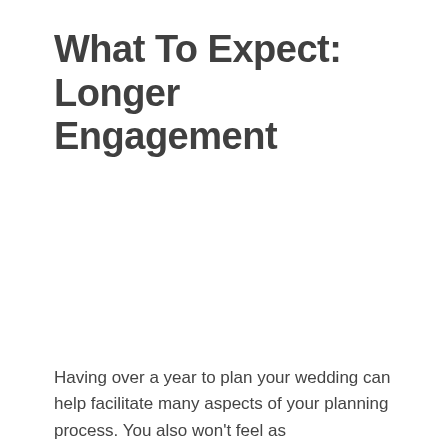What To Expect: Longer Engagement
Having over a year to plan your wedding can help facilitate many aspects of your planning process. You also won't feel as